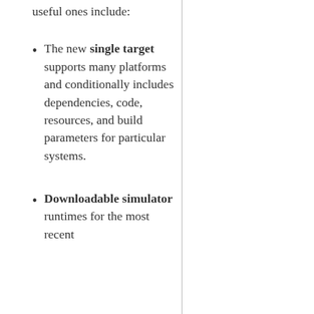useful ones include:
The new single target supports many platforms and conditionally includes dependencies, code, resources, and build parameters for particular systems.
Downloadable simulator runtimes for the most recent